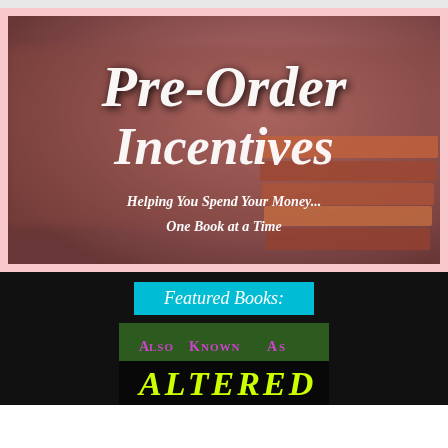[Figure (illustration): Pink-bordered banner image with blurred library/books background. Large decorative script text reads 'Pre-Order Incentives' in white with subtitle 'Helping You Spend Your Money... One Book at a Time']
[Figure (illustration): Black background section with cyan 'Featured Books:' label and book cover for 'Also Known As Altered' with purple and yellow text on dark green background]